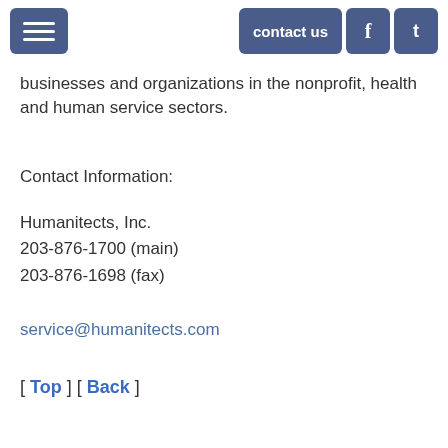[menu] contact us [f] [t]
businesses and organizations in the nonprofit, health and human service sectors.
Contact Information:
Humanitects, Inc.
203-876-1700 (main)
203-876-1698 (fax)
service@humanitects.com
[ Top ] [ Back ]